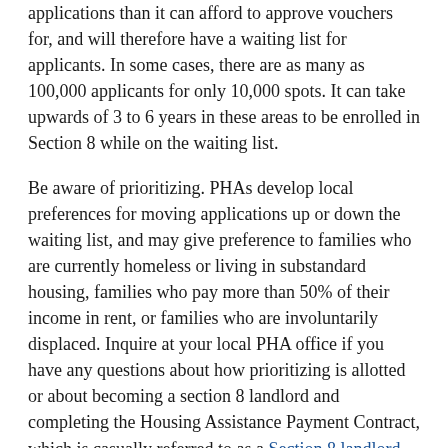applications than it can afford to approve vouchers for, and will therefore have a waiting list for applicants. In some cases, there are as many as 100,000 applicants for only 10,000 spots. It can take upwards of 3 to 6 years in these areas to be enrolled in Section 8 while on the waiting list.
Be aware of prioritizing. PHAs develop local preferences for moving applications up or down the waiting list, and may give preference to families who are currently homeless or living in substandard housing, families who pay more than 50% of their income in rent, or families who are involuntarily displaced. Inquire at your local PHA office if you have any questions about how prioritizing is allotted or about becoming a section 8 landlord and completing the Housing Assistance Payment Contract, which is casually referred to as a Section 8 landlord application. If the PHA in your area has more applicants than it can assist in the near future, it may temporarily close down.
Although the closure is not permanent, it may be beneficial to look for Section 8 housing in another county or metropolitan area if this happens. Know your responsibilities if you do get accepted. If your local PHA does approve your application and provide you with a housing voucher, you will need to make sure that your current or intended living situation fits HUD health and safety requirements. If you are renting, you'll be required to sign a year